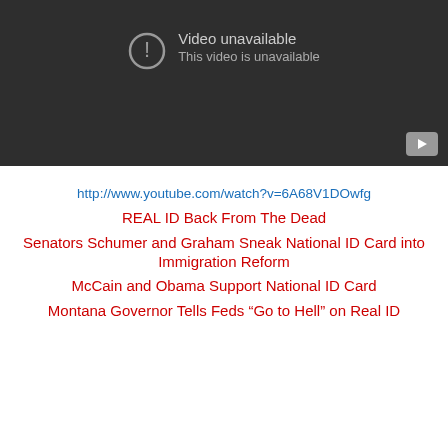[Figure (screenshot): YouTube video player showing 'Video unavailable - This video is unavailable' message on a dark background with a play button icon in the bottom right corner.]
http://www.youtube.com/watch?v=6A68V1DOwfg
REAL ID Back From The Dead
Senators Schumer and Graham Sneak National ID Card into Immigration Reform
McCain and Obama Support National ID Card
Montana Governor Tells Feds “Go to Hell” on Real ID